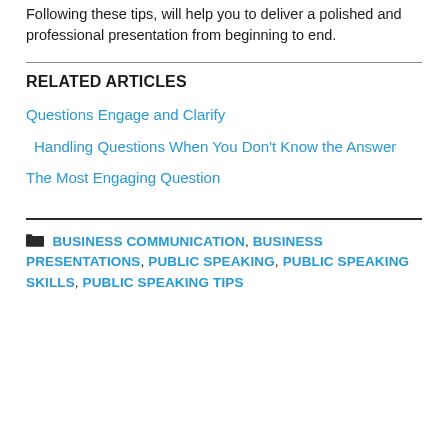Following these tips, will help you to deliver a polished and professional presentation from beginning to end.
RELATED ARTICLES
Questions Engage and Clarify
Handling Questions When You Don't Know the Answer
The Most Engaging Question
BUSINESS COMMUNICATION, BUSINESS PRESENTATIONS, PUBLIC SPEAKING, PUBLIC SPEAKING SKILLS, PUBLIC SPEAKING TIPS